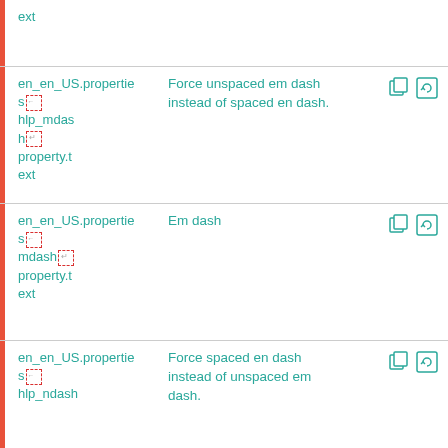| Key | Description | Actions |
| --- | --- | --- |
| ext |  |  |
| en_en_US.properties
hlp_mdash
property.text | Force unspaced em dash instead of spaced en dash. | copy, refresh |
| en_en_US.properties
mdash
property.text | Em dash | copy, refresh |
| en_en_US.properties
hlp_ndash
property.text | Force spaced en dash instead of unspaced em dash. | copy, refresh |